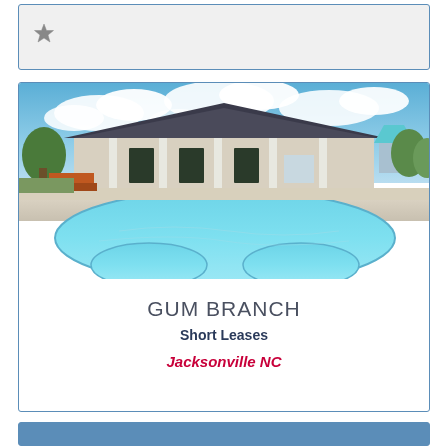[Figure (other): Top card with a gray star/bookmark icon on light gray background]
[Figure (photo): Exterior photo of Gum Branch apartment community featuring a large swimming pool with curved edges in the foreground and a clubhouse building with white columns and dark roof in the background under a partly cloudy blue sky]
GUM BRANCH
Short Leases
Jacksonville NC
[Figure (other): Bottom blue bar/card (partially visible)]